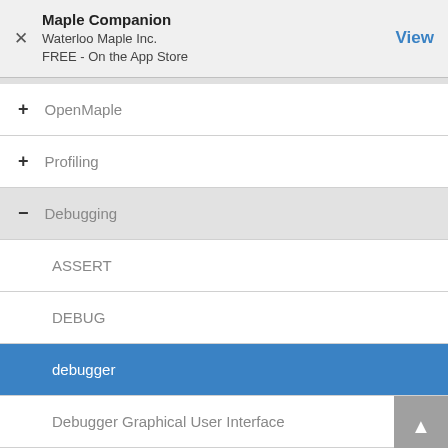Maple Companion
Waterloo Maple Inc.
FREE - On the App Store
+ OpenMaple
+ Profiling
- Debugging
ASSERT
DEBUG
debugger
Debugger Graphical User Interface
debugopts
error